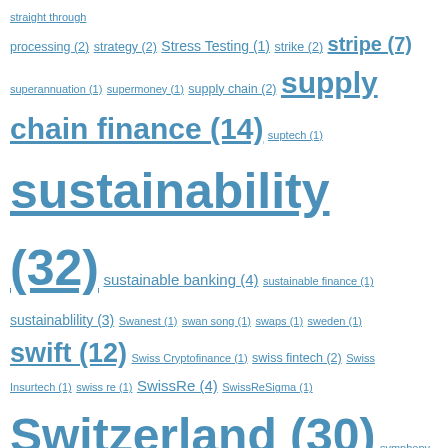Tag cloud listing fintech-related terms with counts, ranging from 'straight through processing (2)' to 'token (2)', including terms like 'sustainability (32)', 'Switzerland (30)', 'This Week in Fintech (97)', 'ThomsonReuters (17)', 'supply chain finance (14)', 'TDAmeritrade (13)', 'tencent (13)', 'swift (12)', 'telematics (10)', 'tech (8)', 'techfin (8)', 'stripe (7)', 'taxonomy (5)', 'sustainable banking (4)', 'SwissRe (4)', 'Tech giants (4)', 'theme weeks (4)', 'takaful (3)', 'tangles (3)', 'sustainablility (3)', 'telecoms (3)', 'tezos (3)', and many single-count terms.